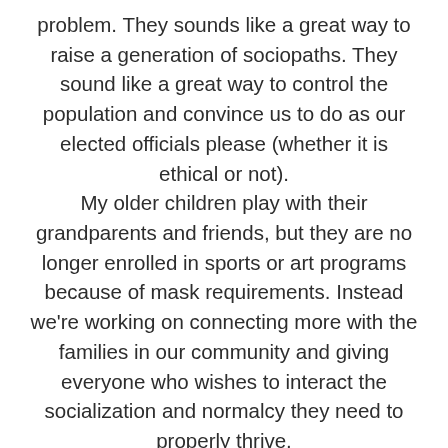problem. They sounds like a great way to raise a generation of sociopaths. They sound like a great way to control the population and convince us to do as our elected officials please (whether it is ethical or not).
My older children play with their grandparents and friends, but they are no longer enrolled in sports or art programs because of mask requirements. Instead we're working on connecting more with the families in our community and giving everyone who wishes to interact the socialization and normalcy they need to properly thrive.